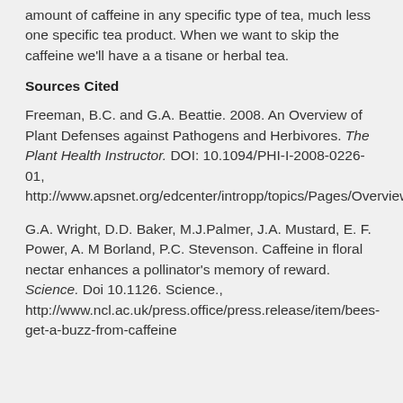amount of caffeine in any specific type of tea, much less one specific tea product. When we want to skip the caffeine we'll have a a tisane or herbal tea.
Sources Cited
Freeman, B.C. and G.A. Beattie. 2008. An Overview of Plant Defenses against Pathogens and Herbivores. The Plant Health Instructor. DOI: 10.1094/PHI-I-2008-0226-01, http://www.apsnet.org/edcenter/intropp/topics/Pages/OverviewOfPlantDiseases.aspx
G.A. Wright, D.D. Baker, M.J.Palmer, J.A. Mustard, E. F. Power, A. M Borland, P.C. Stevenson. Caffeine in floral nectar enhances a pollinator's memory of reward. Science. Doi 10.1126. Science., http://www.ncl.ac.uk/press.office/press.release/item/bees-get-a-buzz-from-caffeine